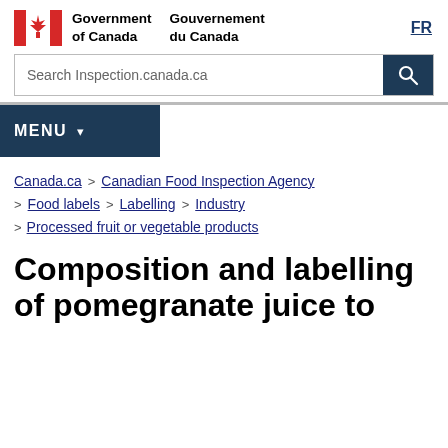Government of Canada | Gouvernement du Canada | FR
Search Inspection.canada.ca
MENU
Canada.ca > Canadian Food Inspection Agency > Food labels > Labelling > Industry > Processed fruit or vegetable products
Composition and labelling of pomegranate juice to